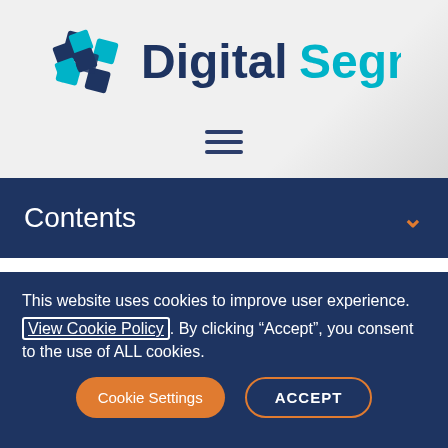[Figure (logo): DigitalSegment logo: a geometric dark blue and cyan diamond/arrow icon on the left, text 'Digital' in dark navy and 'Segment' in cyan on the right]
[Figure (other): Hamburger menu icon — three horizontal dark navy lines]
Contents
Wireless response object
The Wireless result object contains the result of a request
This website uses cookies to improve user experience. View Cookie Policy. By clicking “Accept”, you consent to the use of ALL cookies.
Cookie Settings   ACCEPT